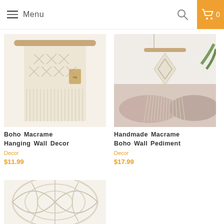Menu
[Figure (photo): Boho macrame hanging wall decor in cream color on a wooden dowel with craft tag]
[Figure (photo): Handmade macrame boho wall pediment hanging above pink pillows in a bedroom setting]
Boho Macrame Hanging Wall Decor
Handmade Macrame Boho Wall Pediment
Decor
Decor
$11.99
$17.99
[Figure (photo): Partial view of a macrame or rope basket/bowl product in cream color]